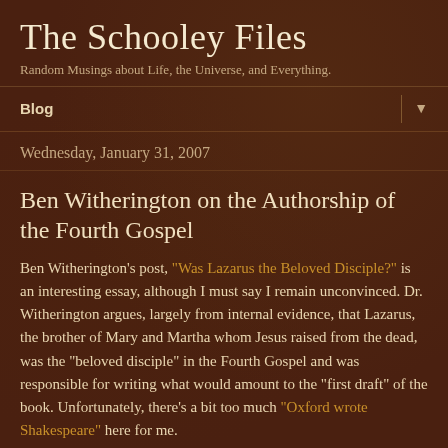The Schooley Files
Random Musings about Life, the Universe, and Everything.
Blog ▼
Wednesday, January 31, 2007
Ben Witherington on the Authorship of the Fourth Gospel
Ben Witherington's post, "Was Lazarus the Beloved Disciple?" is an interesting essay, although I must say I remain unconvinced. Dr. Witherington argues, largely from internal evidence, that Lazarus, the brother of Mary and Martha whom Jesus raised from the dead, was the "beloved disciple" in the Fourth Gospel and was responsible for writing what would amount to the "first draft" of the book. Unfortunately, there's a bit too much "Oxford wrote Shakespeare" here for me.